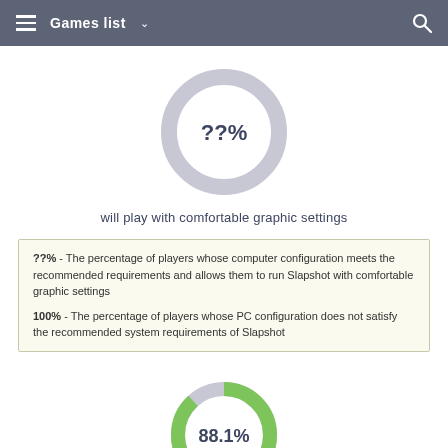Games list
[Figure (donut-chart): Donut chart showing ??% in the center, grey ring with no fill indicating unknown percentage]
will play with comfortable graphic settings
??% - The percentage of players whose computer configuration meets the recommended requirements and allows them to run Slapshot with comfortable graphic settings
100% - The percentage of players whose PC configuration does not satisfy the recommended system requirements of Slapshot
[Figure (donut-chart): Donut chart showing 88.1% in the center, mostly green ring with small grey segment]